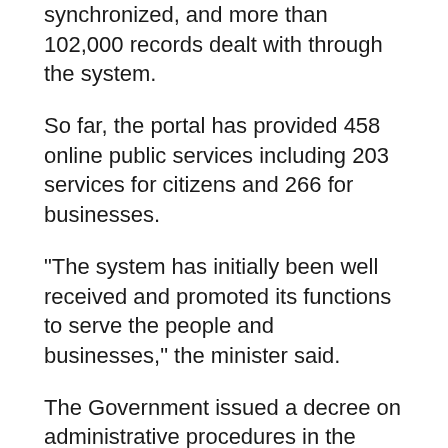synchronized, and more than 102,000 records dealt with through the system.
So far, the portal has provided 458 online public services including 203 services for citizens and 266 for businesses.
"The system has initially been well received and promoted its functions to serve the people and businesses," the minister said.
The Government issued a decree on administrative procedures in the electronic environment, an important legal document for the use of electronic documents, electronic and digital signatures and electronic transactions.
Dung stated it is not appropriate that citizens still have to present hard copies when conducting